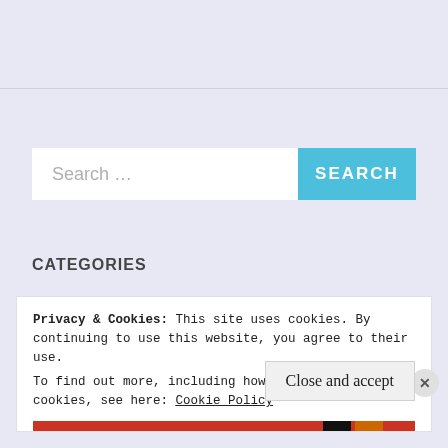[Figure (screenshot): Search bar with placeholder text 'Search ...' and a blue 'SEARCH' button on a lavender background]
CATEGORIES
Privacy & Cookies: This site uses cookies. By continuing to use this website, you agree to their use.
To find out more, including how to control cookies, see here: Cookie Policy
Close and accept